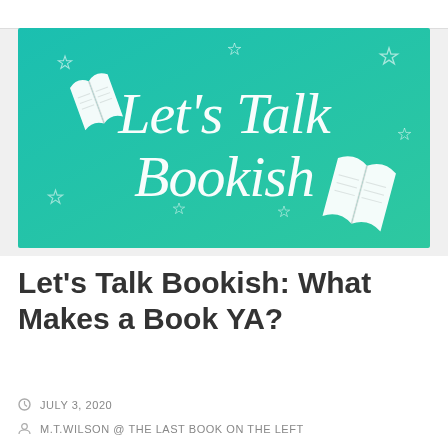[Figure (illustration): Banner image with teal-to-green gradient background featuring white illustrated open books and star outlines, with cursive white text reading 'Let's Talk Bookish']
Let's Talk Bookish: What Makes a Book YA?
JULY 3, 2020
M.T.WILSON @ THE LAST BOOK ON THE LEFT